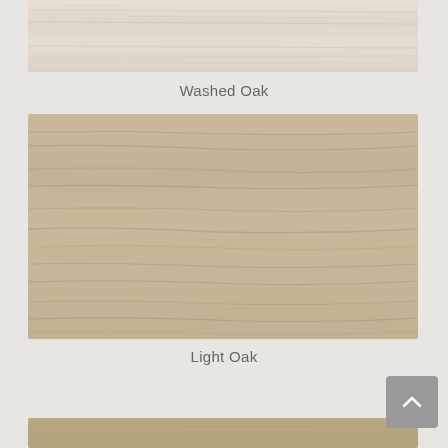[Figure (photo): Close-up photo of Washed Oak wood veneer texture — very light, pale cream/beige wood grain with subtle horizontal grain lines]
Washed Oak
[Figure (photo): Close-up photo of Light Oak wood veneer texture — warm tan/beige wood grain with visible dark grey grain streaks running horizontally]
Light Oak
[Figure (photo): Partial view of another wood veneer sample at bottom of page]